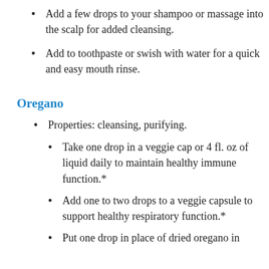Add a few drops to your shampoo or massage into the scalp for added cleansing.
Add to toothpaste or swish with water for a quick and easy mouth rinse.
Oregano
Properties: cleansing, purifying.
Take one drop in a veggie cap or 4 fl. oz of liquid daily to maintain healthy immune function.*
Add one to two drops to a veggie capsule to support healthy respiratory function.*
Put one drop in place of dried oregano in